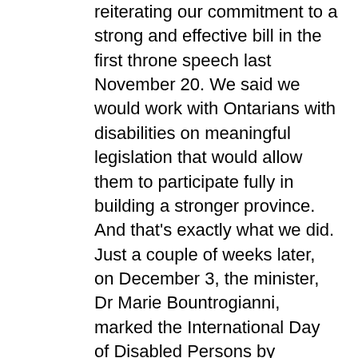reiterating our commitment to a strong and effective bill in the first throne speech last November 20. We said we would work with Ontarians with disabilities on meaningful legislation that would allow them to participate fully in building a stronger province. And that's exactly what we did. Just a couple of weeks later, on December 3, the minister, Dr Marie Bountrogianni, marked the International Day of Disabled Persons by announcing our plans to hold consultations on strengthening the Ontarians with Disabilities Act, 2001.

From January through March this year, Dr Bountrogianni and my predecessor as parliamentary assistant, Dr Kuldip Kular, undertook a series of seven regional public meetings, 14 round table meetings and a live Webcast for